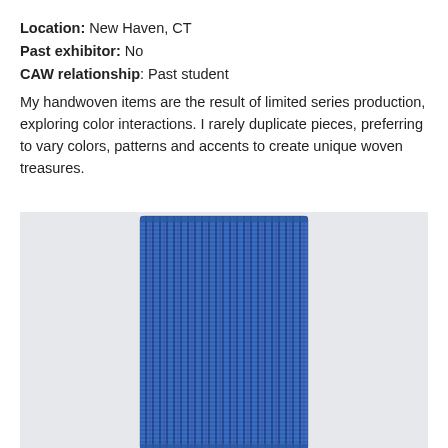Location: New Haven, CT
Past exhibitor: No
CAW relationship: Past student
My handwoven items are the result of limited series production, exploring color interactions. I rarely duplicate pieces, preferring to vary colors, patterns and accents to create unique woven treasures.
[Figure (photo): A handwoven textile scarf/runner in shades of blue with dark navy vertical stripe patterns, displayed flat against a light grey/white background. The piece is rectangular and narrow, photographed from above.]